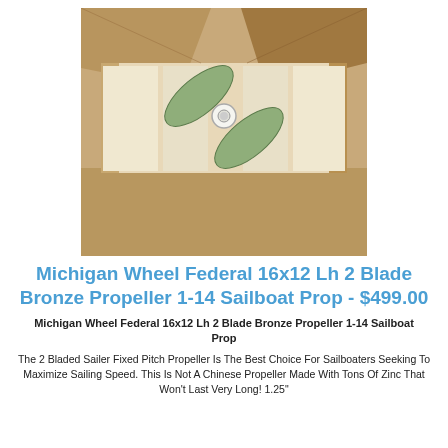[Figure (photo): A two-blade bronze propeller (green/patinated) sitting in an open cardboard box with white foam packaging inserts, viewed from above.]
Michigan Wheel Federal 16x12 Lh 2 Blade Bronze Propeller 1-14 Sailboat Prop - $499.00
Michigan Wheel Federal 16x12 Lh 2 Blade Bronze Propeller 1-14 Sailboat Prop
The 2 Bladed Sailer Fixed Pitch Propeller Is The Best Choice For Sailboaters Seeking To Maximize Sailing Speed. This Is Not A Chinese Propeller Made With Tons Of Zinc That Won't Last Very Long! 1.25"